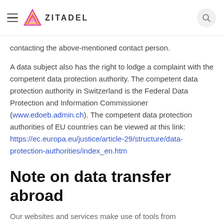Assertion of rights by the data subjects
contacting the above-mentioned contact person.
A data subject also has the right to lodge a complaint with the competent data protection authority. The competent data protection authority in Switzerland is the Federal Data Protection and Information Commissioner (www.edoeb.admin.ch). The competent data protection authorities of EU countries can be viewed at this link: https://ec.europa.eu/justice/article-29/structure/data-protection-authorities/index_en.htm
Note on data transfer abroad
Our websites and services make use of tools from companies based in countries outside of Switzerland or